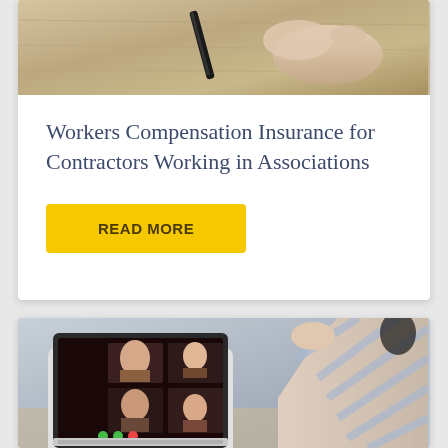[Figure (photo): Photo of hands working at a wooden desk with a pen, viewed from above]
Workers Compensation Insurance for Contractors Working in Associations
READ MORE
[Figure (photo): Person in striped shirt on a video call, with a laptop showing multiple participants on screen]